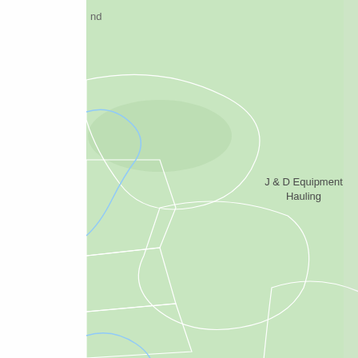[Figure (map): Google Maps screenshot showing a rural area in Tennessee near Cedars of Lebanon State Park. A yellow road (US-231) runs roughly north-south through the center of the map. US-265 road appears in the upper portion intersecting with 231. Road 452 is visible in the lower left. Points of interest include J & D Equipment Hauling (with a dark gray map pin) on the left side, Cedars of Lebanon State Park label in the upper right area, and another location pin partially visible on the far right edge. A green location marker is visible on the left edge. The map background is light green indicating forested/rural land with white boundary lines for land parcels and light blue lines for waterways.]